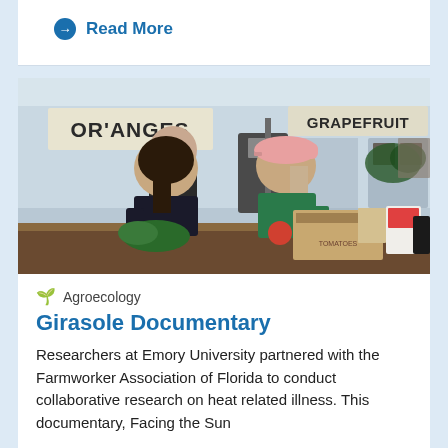→ Read More
[Figure (photo): Two women working behind a counter at a produce market stand. Signs in the background read 'ORANGES' and 'GRAPEFRUIT'. They are handling boxes and fresh produce including tomatoes and leafy greens.]
🌱 Agroecology
Girasole Documentary
Researchers at Emory University partnered with the Farmworker Association of Florida to conduct collaborative research on heat related illness. This documentary, Facing the Sun...